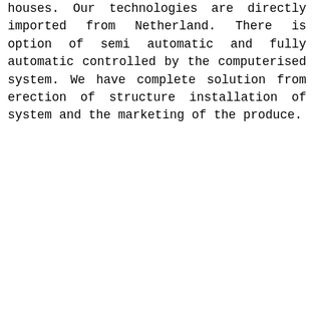houses. Our technologies are directly imported from Netherland. There is option of semi automatic and fully automatic controlled by the computerised system. We have complete solution from erection of structure installation of system and the marketing of the produce.